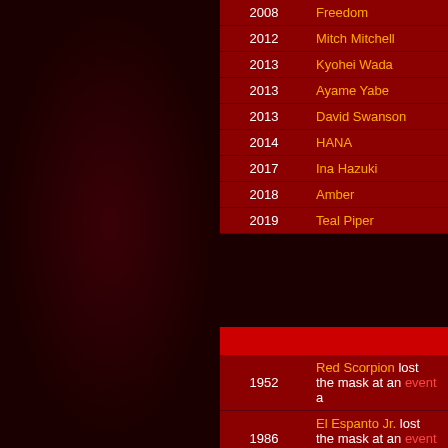| Year | Name |
| --- | --- |
| 2008 | Freedom |
| 2012 | Mitch Mitchell |
| 2013 | Kyohei Wada |
| 2013 | Ayame Yabe |
| 2013 | David Swanson |
| 2014 | HANA |
| 2017 | Ina Hazuki |
| 2018 | Amber |
| 2019 | Teal Piper |
| Year | Description |
| --- | --- |
| 1952 | Red Scorpion lost the mask at an event a… |
| 1986 | El Espanto Jr. lost the mask at an event a… |
| 2014 | Pantera lost the mask at an event agains… |
| Year | Description |
| --- | --- |
| 1987 | Don Bass lost the hair at an event agains… |
| 2003 | El Brazo lost the hair at an event against… |
| 2008 | Electroshock lost the hair at an event aga… |
| 2008 | Texas Ranger #1 lost the hair at an event… |
| 2008 | Súper Caló lost the hair at an event agai… |
| 2014 | Golden Ray lost the hair… |